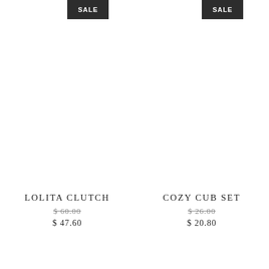[Figure (other): SALE badge top left product area]
[Figure (other): SALE badge top right product area]
LOLITA CLUTCH
$ 60.00 (strikethrough)
$ 47.60
COZY CUB SET
$ 26.00 (strikethrough)
$ 20.80
[Figure (other): SALE badge bottom left product area]
[Figure (other): SALE badge bottom right product area]